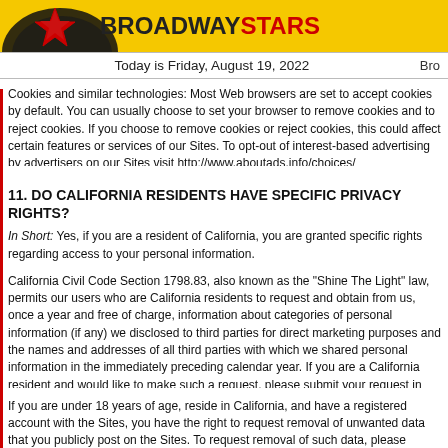BROADWAYSTARS — Today is Friday, August 19, 2022
Cookies and similar technologies: Most Web browsers are set to accept cookies by default. You can usually choose to set your browser to remove cookies and to reject cookies. If you choose to remove cookies or reject cookies, this could affect certain features or services of our Sites. To opt-out of interest-based advertising by advertisers on our Sites visit http://www.aboutads.info/choices/
11. DO CALIFORNIA RESIDENTS HAVE SPECIFIC PRIVACY RIGHTS?
In Short: Yes, if you are a resident of California, you are granted specific rights regarding access to your personal information.
California Civil Code Section 1798.83, also known as the "Shine The Light" law, permits our users who are California residents to request and obtain from us, once a year and free of charge, information about categories of personal information (if any) we disclosed to third parties for direct marketing purposes and the names and addresses of all third parties with which we shared personal information in the immediately preceding calendar year. If you are a California resident and would like to make such a request, please submit your request in writing to us using the contact information provided below.
If you are under 18 years of age, reside in California, and have a registered account with the Sites, you have the right to request removal of unwanted data that you publicly post on the Sites. To request removal of such data, please contact us using the contact information provided below, and include the email address associated with your account and a statement that you reside in California. We will make sure the data is not publicly displayed on the Sites, but please be aware that the data may not be completely or comprehensively removed from our systems.